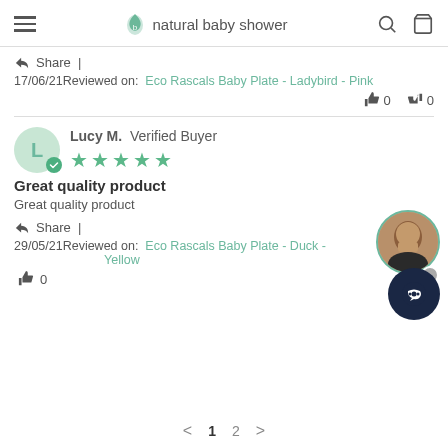natural baby shower
Share |
17/06/21 Reviewed on: Eco Rascals Baby Plate - Ladybird - Pink
👍 0  👎 0
Lucy M.  Verified Buyer  ★★★★★
Great quality product
Great quality product
Share |
29/05/21 Reviewed on: Eco Rascals Baby Plate - Duck - Yellow
👍 0
< 1 2 >